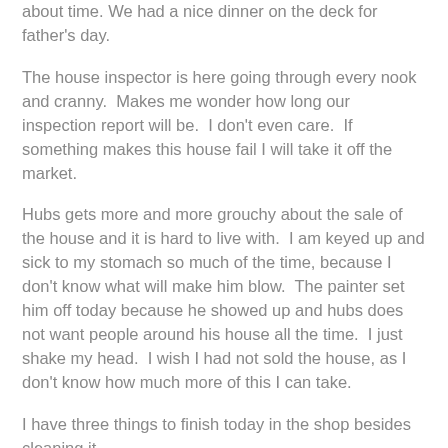about time. We had a nice dinner on the deck for father's day.
The house inspector is here going through every nook and cranny. Makes me wonder how long our inspection report will be. I don't even care. If something makes this house fail I will take it off the market.
Hubs gets more and more grouchy about the sale of the house and it is hard to live with. I am keyed up and sick to my stomach so much of the time, because I don't know what will make him blow. The painter set him off today because he showed up and hubs does not want people around his house all the time. I just shake my head. I wish I had not sold the house, as I don't know how much more of this I can take.
I have three things to finish today in the shop besides cleaning it.
1. finish regalia dress
2. baste sleeves in a wedding dress and get it ready for a fitting.